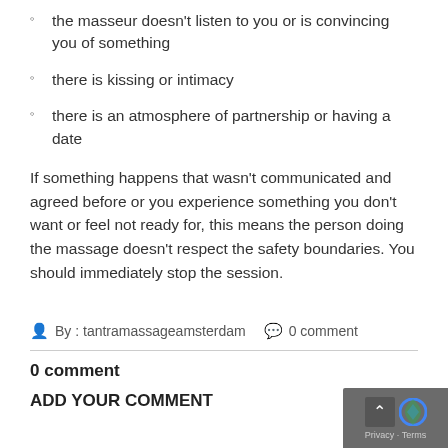the masseur doesn't listen to you or is convincing you of something
there is kissing or intimacy
there is an atmosphere of partnership or having a date
If something happens that wasn't communicated and agreed before or you experience something you don't want or feel not ready for, this means the person doing the massage doesn't respect the safety boundaries. You should immediately stop the session.
By : tantramassageamsterdam   0 comment
0 comment
ADD YOUR COMMENT